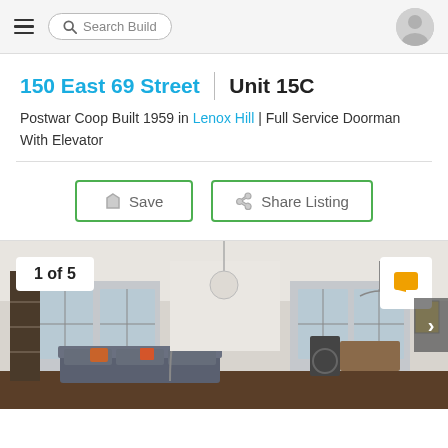Search Build
150 East 69 Street | Unit 15C
Postwar Coop Built 1959 in Lenox Hill | Full Service Doorman With Elevator
Save
Share Listing
[Figure (photo): Interior photo of apartment living room showing gray sectional sofa, shelving unit, large windows, dining area with chandelier, exercise bike in background. Caption overlay: 1 of 5]